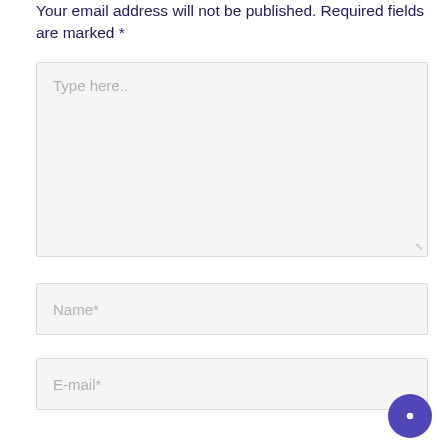Your email address will not be published. Required fields are marked *
[Figure (screenshot): Text input area with placeholder text 'Type here..' and resize handle]
[Figure (screenshot): Text input field with placeholder 'Name*']
[Figure (screenshot): Text input field with placeholder 'E-mail*']
[Figure (screenshot): Purple circular chat button in bottom-right corner with chat icon]